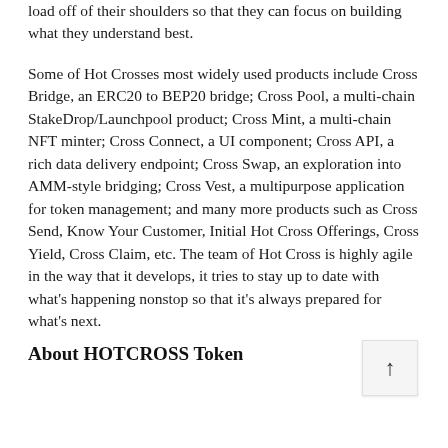load off of their shoulders so that they can focus on building what they understand best.
Some of Hot Crosses most widely used products include Cross Bridge, an ERC20 to BEP20 bridge; Cross Pool, a multi-chain StakeDrop/Launchpool product; Cross Mint, a multi-chain NFT minter; Cross Connect, a UI component; Cross API, a rich data delivery endpoint; Cross Swap, an exploration into AMM-style bridging; Cross Vest, a multipurpose application for token management; and many more products such as Cross Send, Know Your Customer, Initial Hot Cross Offerings, Cross Yield, Cross Claim, etc. The team of Hot Cross is highly agile in the way that it develops, it tries to stay up to date with what's happening nonstop so that it's always prepared for what's next.
About HOTCROSS Token